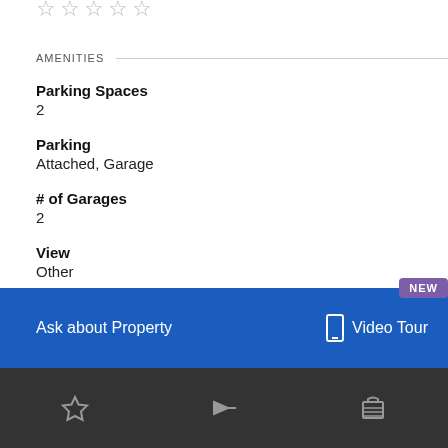[Figure (other): Partial star rating icons at top of page (cropped)]
AMENITIES
Parking Spaces
2
Parking
Attached, Garage
# of Garages
2
View
Other
Ask about Property
Video Tour
NEW